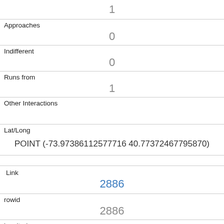|  | 1 |
| Approaches | 0 |
| Indifferent | 0 |
| Runs from | 1 |
| Other Interactions |  |
| Lat/Long | POINT (-73.97386112577160 40.77372467795870) |
| Link | 2886 |
| rowid | 2886 |
| longitude | -73.97292653005330 |
| latitude | 40.77417682916420 |